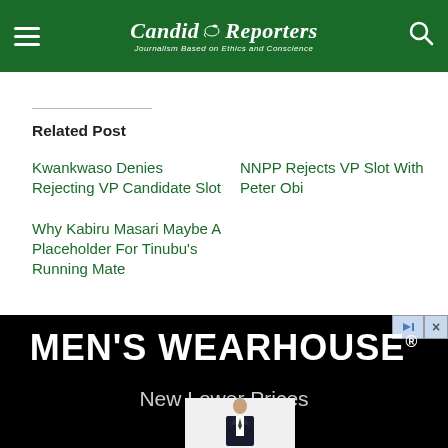Candid Reporters — Journalism Based on Ethics and Conscience
Related Post
Kwankwaso Denies Rejecting VP Candidate Slot
NNPP Rejects VP Slot With Peter Obi
Why Kabiru Masari Maybe A Placeholder For Tinubu's Running Mate
[Figure (other): Men's Wearhouse advertisement — black background with white bold text 'MEN'S WEARHOUSE®' and subtext 'New Lower Prices', with a man in a suit at the bottom.]